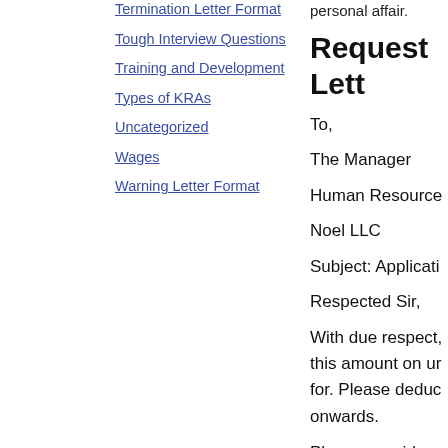Termination Letter Format
Tough Interview Questions
Training and Development
Types of KRAs
Uncategorized
Wages
Warning Letter Format
sample letter or personal affair.
Request Lett
To,
The Manager
Human Resource
Noel LLC
Subject: Applicati
Respected Sir,
With due respect, this amount on ur for. Please deduc onwards.
Please consider n
Sincerely,
Jeff Kennedy
Jr. Production Ma